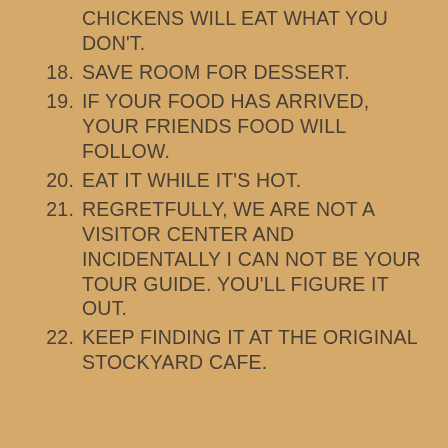17. CLEAN YOUR PLATE. DON'T HAVE TO USE THE CHICKENS WILL EAT WHAT YOU DON'T.
18. SAVE ROOM FOR DESSERT.
19. IF YOUR FOOD HAS ARRIVED, YOUR FRIENDS FOOD WILL FOLLOW.
20. EAT IT WHILE IT'S HOT.
21. REGRETFULLY, WE ARE NOT A VISITOR CENTER AND INCIDENTALLY I CAN NOT BE YOUR TOUR GUIDE. YOU'LL FIGURE IT OUT.
22. KEEP FINDING IT AT THE ORIGINAL STOCKYARD CAFE.